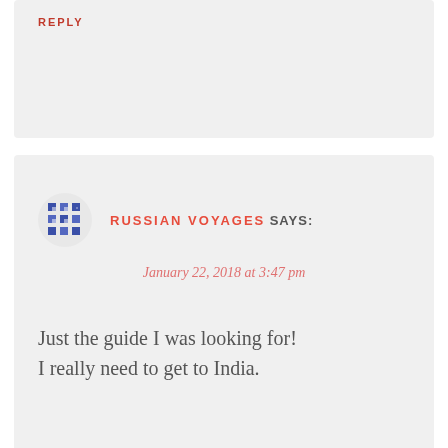REPLY
RUSSIAN VOYAGES SAYS:
January 22, 2018 at 3:47 pm
Just the guide I was looking for! I really need to get to India.
Liked by 1 person
REPLY